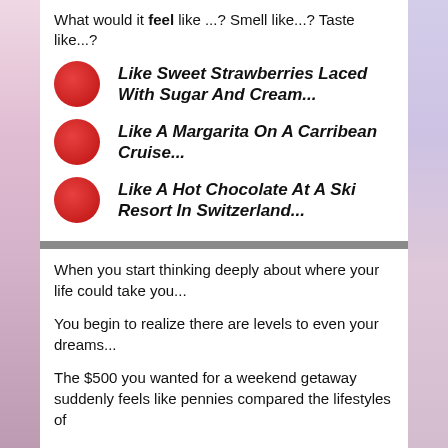What would it feel like ...? Smell like...? Taste like...?
Like Sweet Strawberries Laced With Sugar And Cream...
Like A Margarita On A Carribean Cruise...
Like A Hot Chocolate At A Ski Resort In Switzerland...
When you start thinking deeply about where your life could take you...
You begin to realize there are levels to even your dreams...
The $500 you wanted for a weekend getaway suddenly feels like pennies compared the lifestyles of